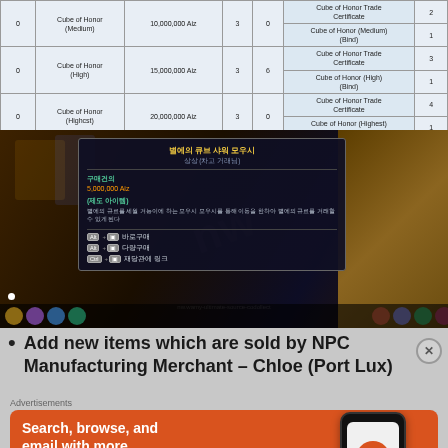|  | Item | Aion | Count | 0 | Reward | Count |
| --- | --- | --- | --- | --- | --- | --- |
| 0 | Cube of Honor (Medium) | 10,000,000 Aiz | 3 | 0 | Cube of Honor Trade Certificate | 2 |
|  |  |  |  |  | Cube of Honor (Medium) (Bind) | 1 |
| 0 | Cube of Honor (High) | 15,000,000 Aiz | 3 | 6 | Cube of Honor Trade Certificate | 3 |
|  |  |  |  |  | Cube of Honor (High) (Bind) | 1 |
| 0 | Cube of Honor (Highest) | 20,000,000 Aiz | 3 | 0 | Cube of Honor Trade Certificate | 4 |
|  |  |  |  |  | Cube of Honor (Highest) (Bind) | 1 |
[Figure (screenshot): In-game Korean dialog box showing item purchase interface with title '별에의 큐브 샤워 모우시', price '5,000,000 Aiz', item description in Korean, and action buttons for immediate purchase, bulk purchase, and add to cart, overlaid on a game scene background.]
Add new items which are sold by NPC Manufacturing Merchant – Chloe (Port Lux)
[Figure (infographic): DuckDuckGo advertisement banner on orange background showing 'Search, browse, and email with more privacy. All in One Free App' with a phone mockup displaying the DuckDuckGo logo and brand name.]